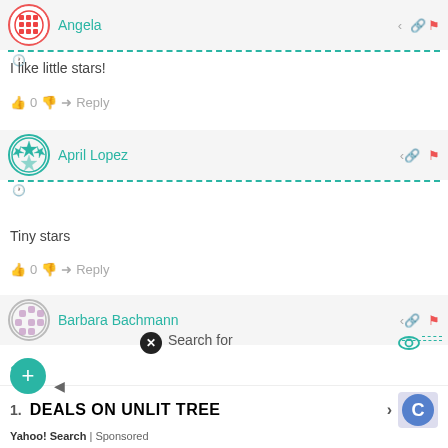Angela
I like little stars!
0  Reply
April Lopez
Tiny stars
0  Reply
Barbara Bachmann
Search for
165
1.   DEALS ON UNLIT TREE
Yahoo! Search | Sponsored